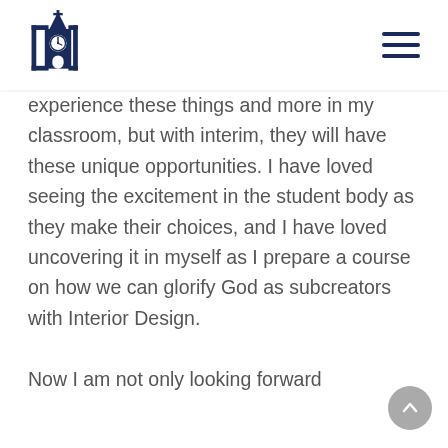[logo and navigation]
experience these things and more in my classroom, but with interim, they will have these unique opportunities. I have loved seeing the excitement in the student body as they make their choices, and I have loved uncovering it in myself as I prepare a course on how we can glorify God as subcreators with Interior Design.

Now I am not only looking forward
[Figure (logo): Church/school logo: bracket symbols with a steeple and clock inside, dark navy blue color]